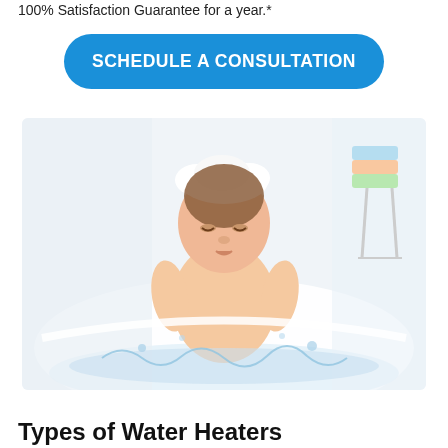100% Satisfaction Guarantee for a year.*
[Figure (other): Blue rounded rectangle call-to-action button with white bold text reading SCHEDULE A CONSULTATION]
[Figure (photo): Photo of a young toddler sitting in a white bathtub with soap foam on head, water splashing, bright white background, colorful towels on a rack in the background]
Types of Water Heaters